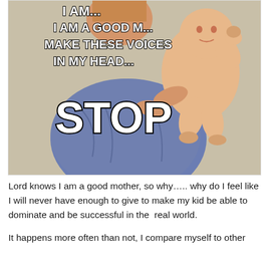[Figure (illustration): A meme-style illustration showing a person in a blue shirt holding a baby, with text overlay reading 'I AM... I AM A GOOD M... MAKE THESE VOICES IN MY HEAD... STOP']
Lord knows I am a good mother, so why….. why do I feel like I will never have enough to give to make my kid be able to dominate and be successful in the  real world.
It happens more often than not, I compare myself to other